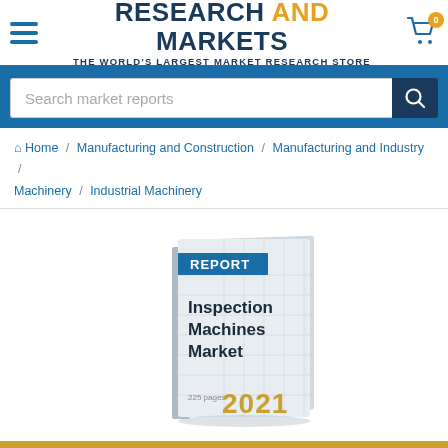RESEARCH AND MARKETS — THE WORLD'S LARGEST MARKET RESEARCH STORE
Search market reports
Home / Manufacturing and Construction / Manufacturing and Industry / Machinery / Industrial Machinery
[Figure (illustration): Book cover illustration for 'Inspection Machines Market' report, 225 pages, 2021, with a blue 'REPORT' banner and gold '2021' text]
Price From: $4,950   VIEW PRICING